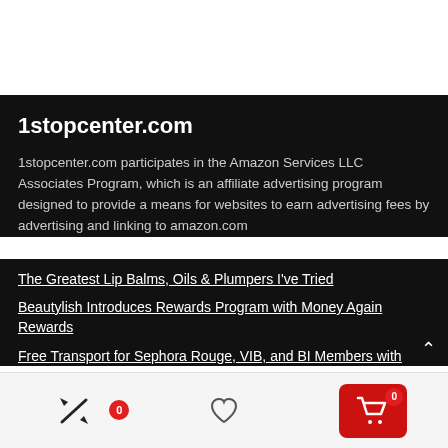1stopcenter.com
1stopcenter.com participates in the Amazon Services LLC Associates Program, which is an affiliate advertising program designed to provide a means for websites to earn advertising fees by advertising and linking to amazon.com
The Greatest Lip Balms, Oils & Plumpers I've Tried
Beautylish Introduces Rewards Program with Money Again Rewards
Free Transport for Sephora Rouge, VIB, and BI Members with